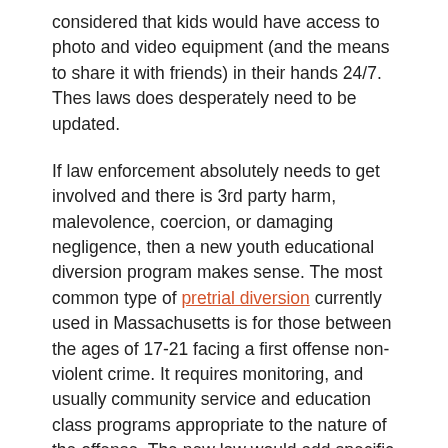considered that kids would have access to photo and video equipment (and the means to share it with friends) in their hands 24/7. Thes laws does desperately need to be updated.
If law enforcement absolutely needs to get involved and there is 3rd party harm, malevolence, coercion, or damaging negligence, then a new youth educational diversion program makes sense. The most common type of pretrial diversion currently used in Massachusetts is for those between the ages of 17-21 facing a first offense non-violent crime. It requires monitoring, and usually community service and education class programs appropriate to the nature of the offense. The new law would add specific educational programs around the dangers of sexting.
Massachusetts Pretrial Diversion